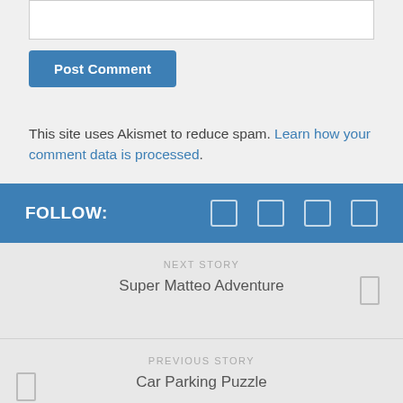This site uses Akismet to reduce spam. Learn how your comment data is processed.
FOLLOW:
NEXT STORY
Super Matteo Adventure
PREVIOUS STORY
Car Parking Puzzle